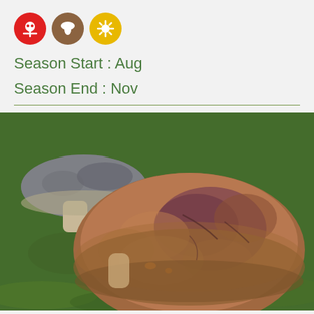[Figure (other): Three circular icon badges in a row: red circle with skull-and-crossbones symbol, brown circle with mushroom symbol, yellow circle with sun/flower symbol]
Season Start : Aug
Season End : Nov
[Figure (photo): Close-up photograph of two mushrooms on green grass. The main mushroom in the foreground shows the underside/cap from above, with reddish-brown coloring and mottled patches. A second mushroom is visible in the upper left background.]